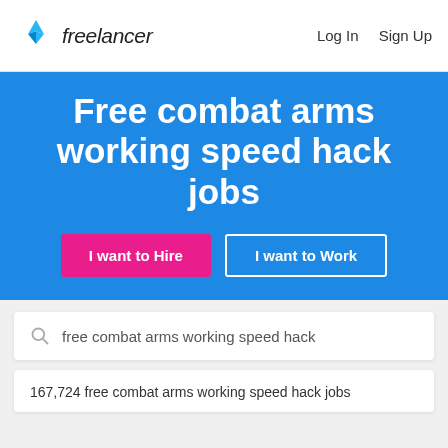freelancer  Log In  Sign Up
Free combat arms working speed hack jobs
I want to Hire   I want to Work
free combat arms working speed hack
167,724 free combat arms working speed hack jobs